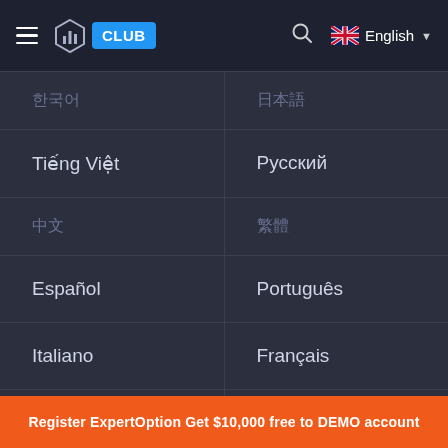ExpertOption Club navigation bar with hamburger menu, logo, CLUB badge, search icon, English language selector
한국어
日本語
Tiếng Việt
Русский
中文
繁體
Español
Português
Italiano
Français
Deutsch
Türkçe
Register ExpertOption Get $10,000 free to DEMO account